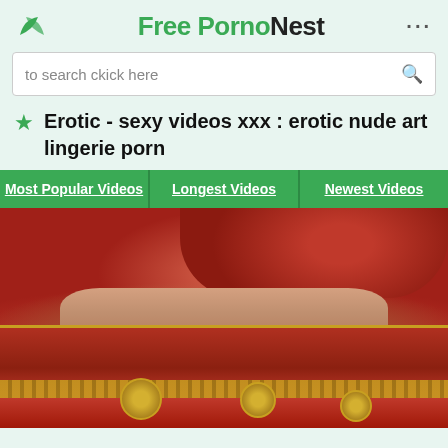Free PornoNest
to search ckick here
Erotic - sexy videos xxx : erotic nude art lingerie porn
Most Popular Videos
Longest Videos
Newest Videos
[Figure (photo): Close-up photo of a person wearing a red top and red decorative sari with gold embroidery and circular ornamental patterns along the border, showing midriff.]